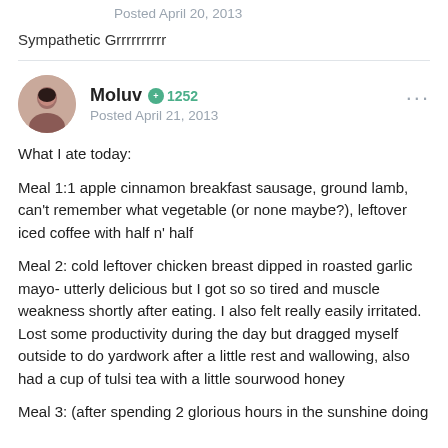Posted April 20, 2013
Sympathetic Grrrrrrrrrr
Moluv  +1252
Posted April 21, 2013
What I ate today:

Meal 1:1 apple cinnamon breakfast sausage, ground lamb, can't remember what vegetable (or none maybe?), leftover iced coffee with half n' half

Meal 2: cold leftover chicken breast dipped in roasted garlic mayo- utterly delicious but I got so so tired and muscle weakness shortly after eating. I also felt really easily irritated. Lost some productivity during the day but dragged myself outside to do yardwork after a little rest and wallowing, also had a cup of tulsi tea with a little sourwood honey

Meal 3: (after spending 2 glorious hours in the sunshine doing